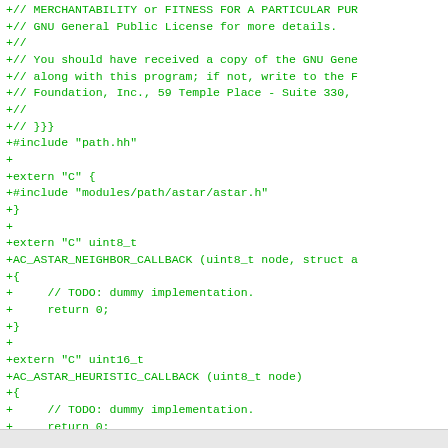+// MERCHANTABILITY or FITNESS FOR A PARTICULAR PUR
+// GNU General Public License for more details.
+//
+// You should have received a copy of the GNU Gene
+// along with this program; if not, write to the F
+// Foundation, Inc., 59 Temple Place - Suite 330,
+//
+// }}}
+#include "path.hh"
+
+extern "C" {
+#include "modules/path/astar/astar.h"
+}
+
+extern "C" uint8_t
+AC_ASTAR_NEIGHBOR_CALLBACK (uint8_t node, struct a
+{
+     // TODO: dummy implementation.
+     return 0;
+}
+
+extern "C" uint16_t
+AC_ASTAR_HEURISTIC_CALLBACK (uint8_t node)
+{
+     // TODO: dummy implementation.
+     return 0;
+}
+